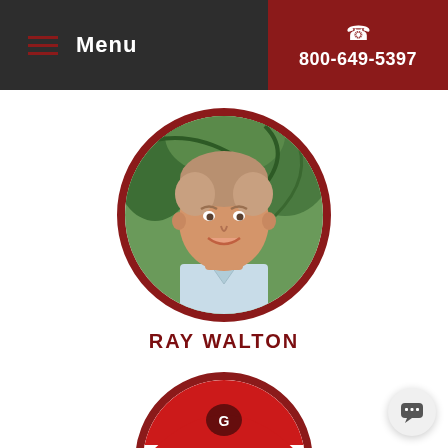Menu  |  800-649-5397
[Figure (photo): Circular headshot photo of Ray Walton, a man with short light brown hair wearing a light blue shirt, photographed outdoors with tropical plants in the background.]
RAY WALTON
[Figure (photo): Partial circular headshot of a second person, partially cut off at the bottom of the page, wearing a red and white hat.]